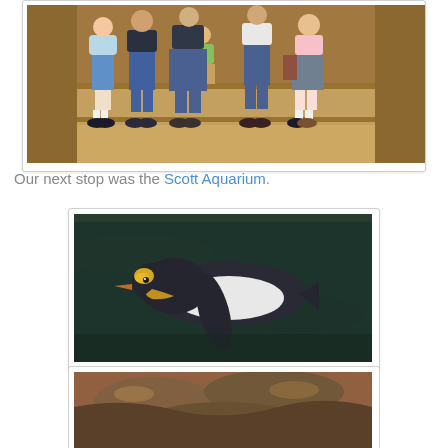[Figure (photo): Group of children sitting on stone steps in a dimly lit tunnel-like space. Several girls in dresses/skirts and a boy in jeans are seated.]
Our next stop was the Scott Aquarium.
[Figure (photo): A king penguin swimming underwater, viewed from above. The penguin has distinctive yellow and orange coloring on its neck against dark teal water.]
[Figure (photo): Partial view of rocky terrain at an aquarium, bottom portion of image cut off.]